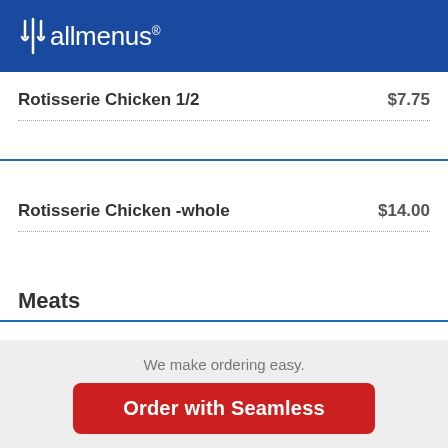allmenus®
Rotisserie Chicken 1/2   $7.75
Rotisserie Chicken -whole   $14.00
Meats
We make ordering easy.
Order with Seamless